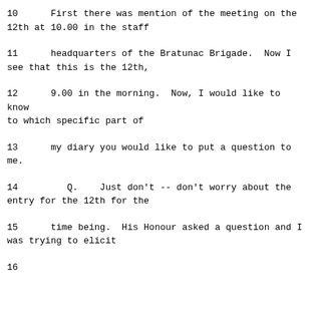10      First there was mention of the meeting on the 12th at 10.00 in the staff
11      headquarters of the Bratunac Brigade.  Now I see that this is the 12th,
12      9.00 in the morning.  Now, I would like to know to which specific part of
13      my diary you would like to put a question to me.
14         Q.    Just don't -- don't worry about the entry for the 12th for the
15      time being.  His Honour asked a question and I was trying to elicit
16